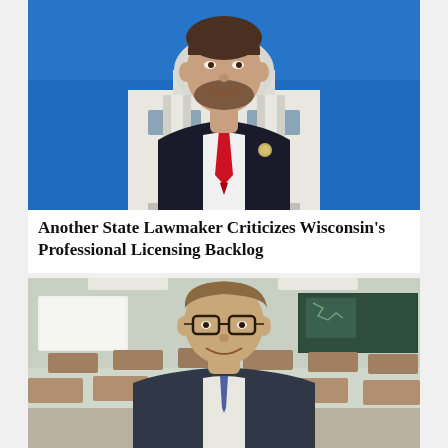[Figure (photo): A man in a dark suit with a red tie and a pin on his lapel, smiling, photographed in front of a state capitol building with a blue sky background.]
Another State Lawmaker Criticizes Wisconsin's Professional Licensing Backlog
[Figure (photo): A man wearing glasses and smiling, photographed in front of a classroom with rows of desks, a whiteboard, and a chalkboard visible in the background.]